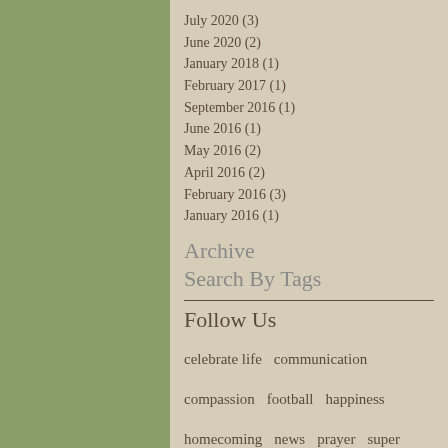July 2020 (3)
June 2020 (2)
January 2018 (1)
February 2017 (1)
September 2016 (1)
June 2016 (1)
May 2016 (2)
April 2016 (2)
February 2016 (3)
January 2016 (1)
Archive
Search By Tags
Follow Us
celebrate life   communication   compassion   football   happiness   homecoming   news   prayer   super bowl   Super Tuesday   temptation   vote
[Figure (logo): Facebook, Twitter, and Google+ social media icons]